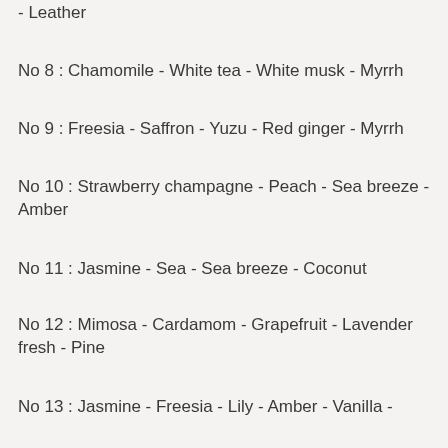- Leather
No 8 : Chamomile - White tea - White musk - Myrrh
No 9 : Freesia - Saffron - Yuzu - Red ginger - Myrrh
No 10 : Strawberry champagne - Peach - Sea breeze - Amber
No 11 : Jasmine - Sea - Sea breeze - Coconut
No 12 : Mimosa - Cardamom - Grapefruit - Lavender fresh - Pine
No 13 : Jasmine - Freesia - Lily - Amber - Vanilla -